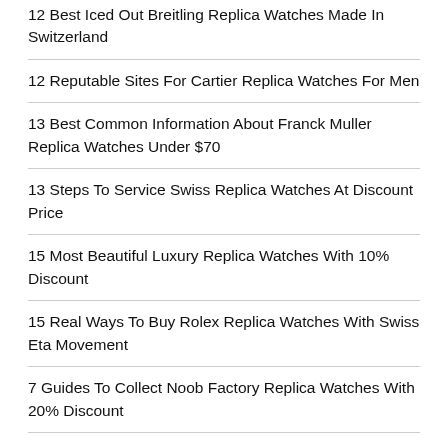12 Best Iced Out Breitling Replica Watches Made In Switzerland
12 Reputable Sites For Cartier Replica Watches For Men
13 Best Common Information About Franck Muller Replica Watches Under $70
13 Steps To Service Swiss Replica Watches At Discount Price
15 Most Beautiful Luxury Replica Watches With 10% Discount
15 Real Ways To Buy Rolex Replica Watches With Swiss Eta Movement
7 Guides To Collect Noob Factory Replica Watches With 20% Discount
7 Highest Quality Iwc Replica Watches For Sell